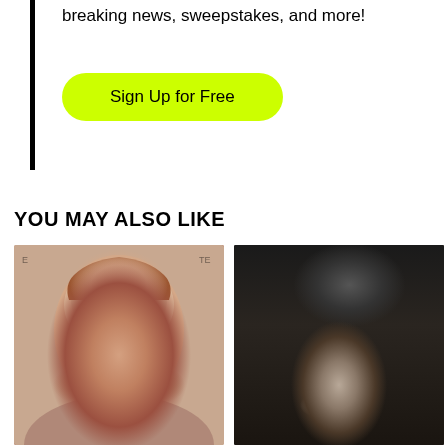breaking news, sweepstakes, and more!
Sign Up for Free
YOU MAY ALSO LIKE
[Figure (photo): Portrait photo of a smiling woman with auburn hair and green eyes]
[Figure (photo): Dark cinematic scene showing a person with a large dark creature or tail looming over them]